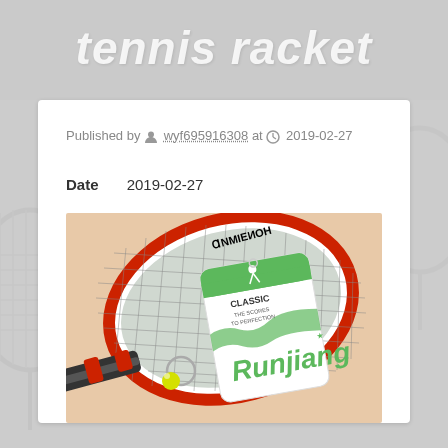tennis racket
Published by wyf695916308 at 2019-02-27
Date 2019-02-27
[Figure (photo): Photo of a Runjiang brand tennis racket with red and white frame, with brand tag attached, placed on a light orange/peach background]